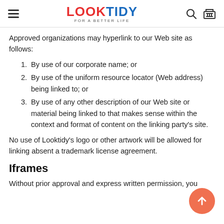LOOKTIDY - FOR A BETTER LIFE
Approved organizations may hyperlink to our Web site as follows:
By use of our corporate name; or
By use of the uniform resource locator (Web address) being linked to; or
By use of any other description of our Web site or material being linked to that makes sense within the context and format of content on the linking party’s site.
No use of Looktidy’s logo or other artwork will be allowed for linking absent a trademark license agreement.
Iframes
Without prior approval and express written permission, you